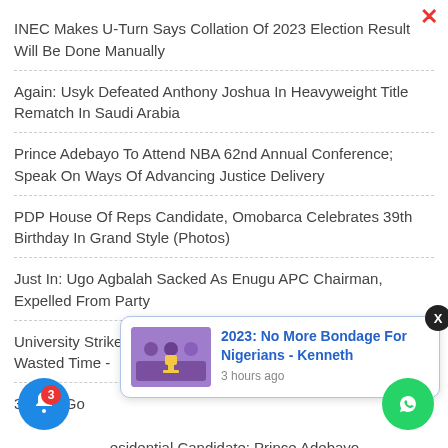INEC Makes U-Turn Says Collation Of 2023 Election Result Will Be Done Manually
Again: Usyk Defeated Anthony Joshua In Heavyweight Title Rematch In Saudi Arabia
Prince Adebayo To Attend NBA 62nd Annual Conference; Speak On Ways Of Advancing Justice Delivery
PDP House Of Reps Candidate, Omobarca Celebrates 39th Birthday In Grand Style (Photos)
Just In: Ugo Agbalah Sacked As Enugu APC Chairman, Expelled From Party
University Strike: ASUU Must Compensate Students For Wasted Time -
3: APC Go... esidential Candidate; Prince Adebayo
[Figure (screenshot): Notification popup with image thumbnail and text: '2023: No More Bondage For Nigerians - Kenneth', 3 hours ago]